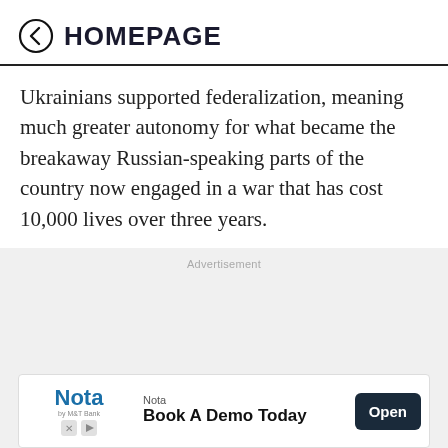← HOMEPAGE
Ukrainians supported federalization, meaning much greater autonomy for what became the breakaway Russian-speaking parts of the country now engaged in a war that has cost 10,000 lives over three years.
[Figure (other): Advertisement area with gray background]
[Figure (other): Nota advertisement banner: Nota by M&T Bank - Book A Demo Today - Open button]